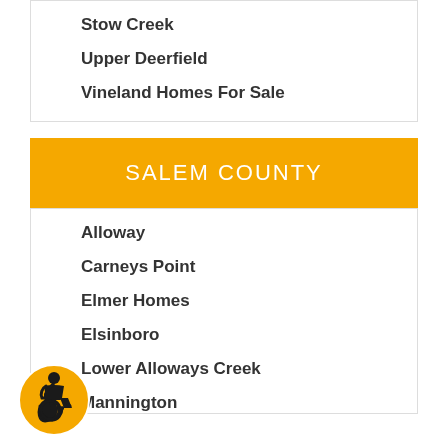Stow Creek
Upper Deerfield
Vineland Homes For Sale
SALEM COUNTY
Alloway
Carneys Point
Elmer Homes
Elsinboro
Lower Alloways Creek
Mannington